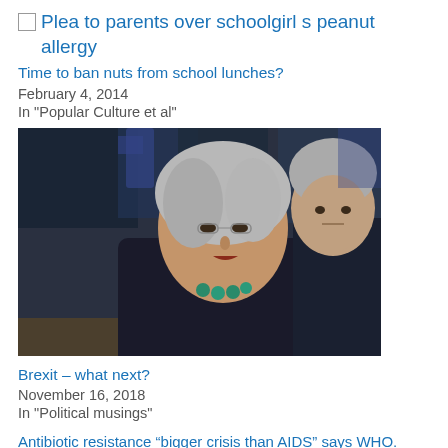[Figure (photo): Broken image icon with link text: Plea to parents over schoolgirl s peanut allergy]
Time to ban nuts from school lunches?
February 4, 2014
In "Popular Culture et al"
[Figure (photo): Photo of a woman speaking in what appears to be a parliamentary chamber, with a man visible behind her to the right]
Brexit – what next?
November 16, 2018
In "Political musings"
Antibiotic resistance “bigger crisis than AIDS” says WHO. Could your kid die of a scraped knee?